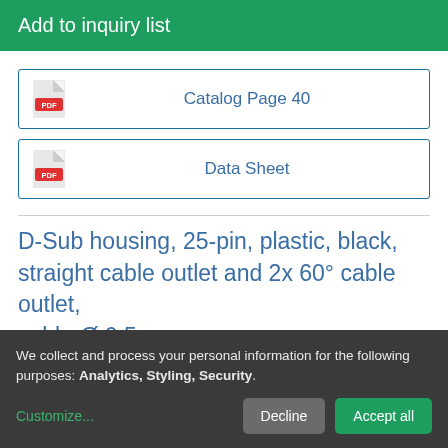Add to inquiry list
Catalog Page 40
Data Sheet
D-Sub housing, 25-pin, plastic, black, straight cable outlet and 2x 60° cable outlet, cable-Ø 9,5mm
We collect and process your personal information for the following purposes: Analytics, Styling, Security.
Customize...
Decline
Accept all